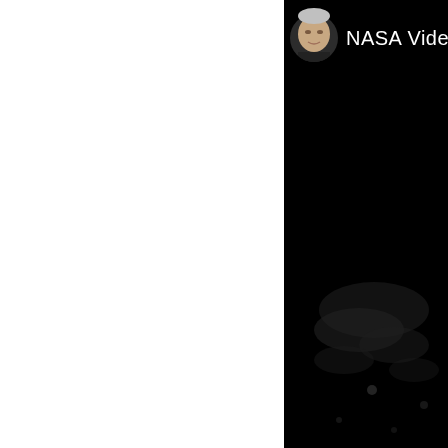[Figure (screenshot): A dark NASA video screenshot showing a man's face (small circular thumbnail portrait in the upper left area of the video frame) with white text 'NASA Video' to the right of the thumbnail. The background is nearly black with faint nebula-like or cloud-like light smudges visible in the lower portion of the image.]